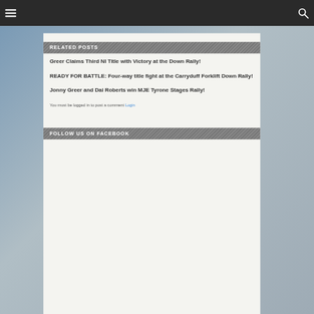Navigation bar with menu and search icons
RELATED POSTS
Greer Claims Third NI Title with Victory at the Down Rally!
READY FOR BATTLE: Four-way title fight at the Carryduff Forklift Down Rally!
Jonny Greer and Dai Roberts win MJE Tyrone Stages Rally!
You must be logged in to post a comment Login
FOLLOW US ON FACEBOOK